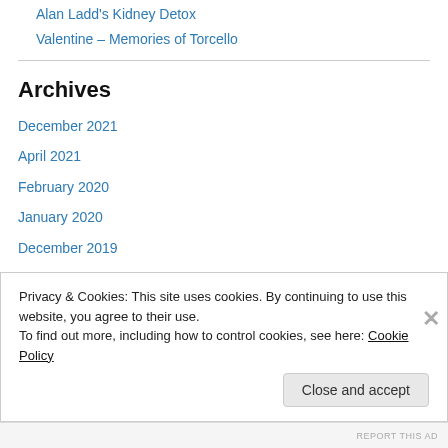Alan Ladd's Kidney Detox
Valentine – Memories of Torcello
Archives
December 2021
April 2021
February 2020
January 2020
December 2019
August 2018
July 2018
June 2018
Privacy & Cookies: This site uses cookies. By continuing to use this website, you agree to their use. To find out more, including how to control cookies, see here: Cookie Policy
Close and accept